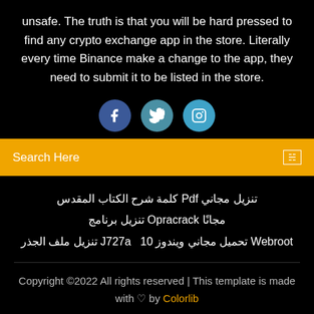unsafe. The truth is that you will be hard pressed to find any crypto exchange app in the store. Literally every time Binance make a change to the app, they need to submit it to be listed in the store.
[Figure (other): Three circular social media icons: Facebook (dark blue), Twitter (teal/blue), Instagram (light blue)]
Search Here
تنزيل مجاني Pdf كلمة شرح الكتاب المقدس
مجانًا Opracrack تنزيل برنامج
تنزيل ملف الجذر J727a   تحميل مجاني ويندوز 10 Webroot
Copyright ©2022 All rights reserved | This template is made with ♡ by Colorlib